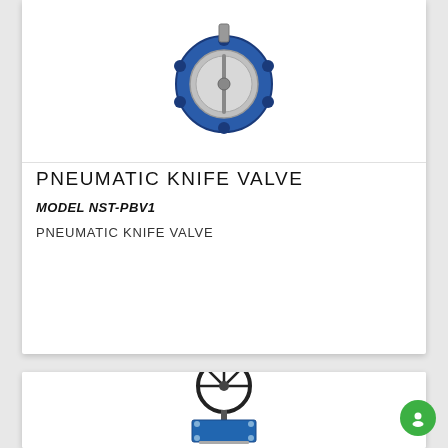[Figure (photo): Pneumatic butterfly valve blue body with stainless steel disc, wafer-style, viewed from front]
PNEUMATIC KNIFE VALVE
MODEL NST-PBV1
PNEUMATIC KNIFE VALVE
[Figure (photo): Blue knife gate valve with black handwheel on top, metallic body with bolted connections, industrial gate valve]